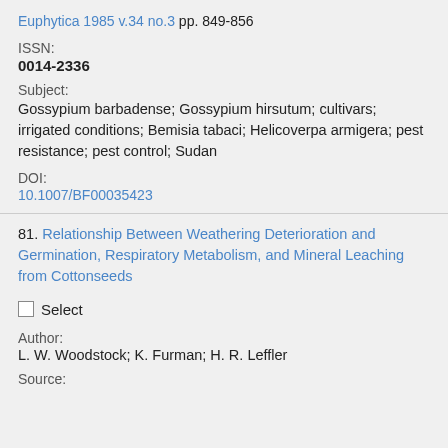Euphytica 1985 v.34 no.3 pp. 849-856
ISSN:
0014-2336
Subject:
Gossypium barbadense; Gossypium hirsutum; cultivars; irrigated conditions; Bemisia tabaci; Helicoverpa armigera; pest resistance; pest control; Sudan
DOI:
10.1007/BF00035423
81. Relationship Between Weathering Deterioration and Germination, Respiratory Metabolism, and Mineral Leaching from Cottonseeds
Select
Author:
L. W. Woodstock; K. Furman; H. R. Leffler
Source: